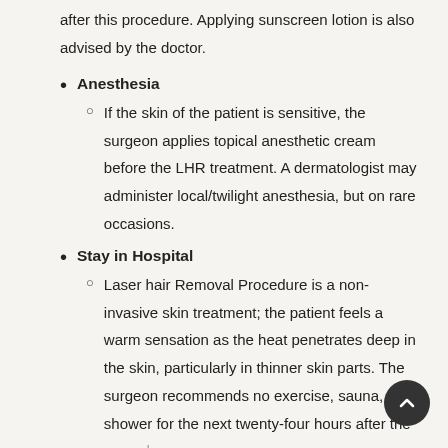after this procedure. Applying sunscreen lotion is also advised by the doctor.
Anesthesia
If the skin of the patient is sensitive, the surgeon applies topical anesthetic cream before the LHR treatment. A dermatologist may administer local/twilight anesthesia, but on rare occasions.
Stay in Hospital
Laser hair Removal Procedure is a non-invasive skin treatment; the patient feels a warm sensation as the heat penetrates deep in the skin, particularly in thinner skin parts. The surgeon recommends no exercise, sauna, hot shower for the next twenty-four hours after the procedure.